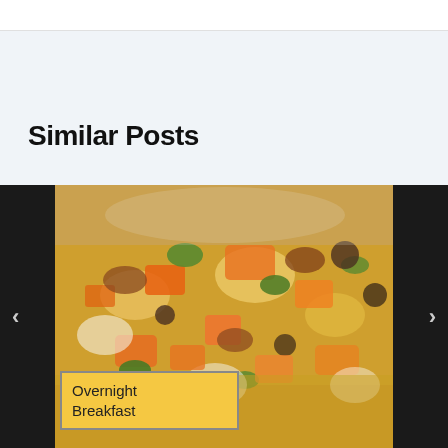Similar Posts
[Figure (photo): Carousel showing food image with left/right navigation arrows and a card label reading 'Overnight Breakfast']